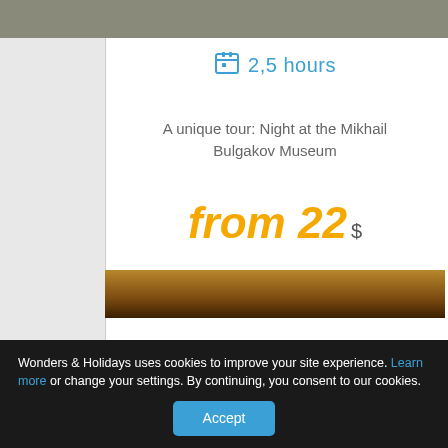[Figure (photo): Top portion of a building photo, partially visible at the top of the page]
2,5 hours
A unique tour: Night at the Mikhail Bulgakov Museum
from 22 $
FIND MORE
[Figure (photo): Bottom image strip, dark brownish tones]
Wonders & Holidays uses cookies to improve your site experience. Learn more or change your settings. By continuing, you consent to our cookies.
Accept